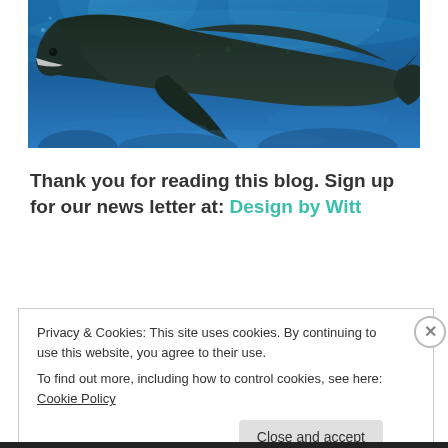[Figure (photo): Underwater photo of a humpback whale swimming in blue ocean water, viewed from below/side angle.]
Thank you for reading this blog. Sign up for our news letter at: Design by Witt
Privacy & Cookies: This site uses cookies. By continuing to use this website, you agree to their use.
To find out more, including how to control cookies, see here: Cookie Policy